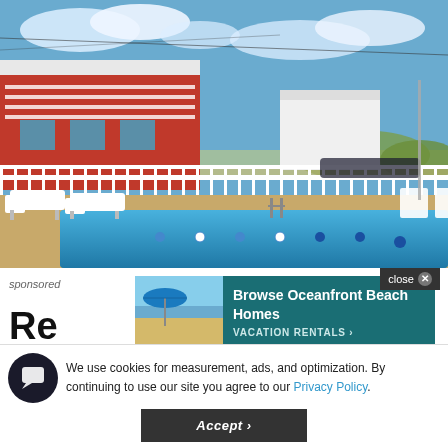[Figure (photo): Outdoor swimming pool area with lounge chairs, a white metal fence/railing, and a red and white two-story beach house in the background under a partly cloudy blue sky.]
sponsored
Re
[Figure (infographic): Advertisement banner: Beach scene with blue umbrella on left, teal background with text 'Browse Oceanfront Beach Homes VACATION RENTALS >']
close ✕
We use cookies for measurement, ads, and optimization. By continuing to use our site you agree to our Privacy Policy.
Accept >